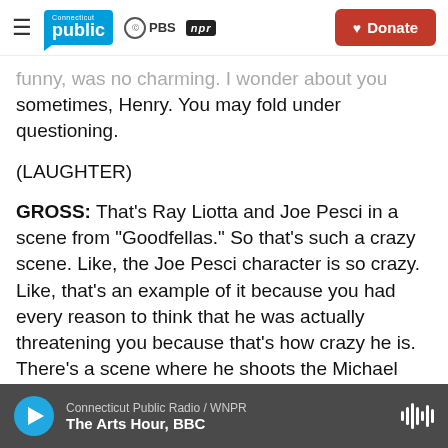Connecticut Public | PBS | NPR | Donate
...funny, was no charming. I wonder about you sometimes, Henry. You may fold under questioning.
(LAUGHTER)
GROSS: That's Ray Liotta and Joe Pesci in a scene from "Goodfellas." So that's such a crazy scene. Like, the Joe Pesci character is so crazy. Like, that's an example of it because you had every reason to think that he was actually threatening you because that's how crazy he is. There's a scene where he shoots the Michael Imperioli character in the foot
Connecticut Public Radio / WNPR | The Arts Hour, BBC